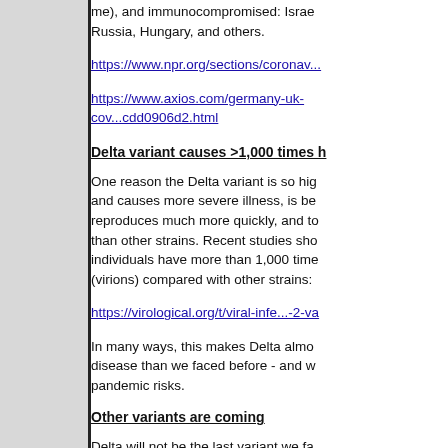me), and immunocompromised: Israel, Russia, Hungary, and others.
https://www.npr.org/sections/coronav...
https://www.axios.com/germany-uk-cov...cdd0906d2.html
Delta variant causes >1,000 times h
One reason the Delta variant is so hig and causes more severe illness, is be reproduces much more quickly, and to than other strains. Recent studies sho individuals have more than 1,000 time (virions) compared with other strains:
https://virological.org/t/viral-infe...-2-va
In many ways, this makes Delta almo disease than we faced before - and w pandemic risks.
Other variants are coming
Delta will not be the last variant we fa have already been identified, and the appear to show greater risk than Delt increased vaccine resistance, virulen transmissibility. The next threats seem